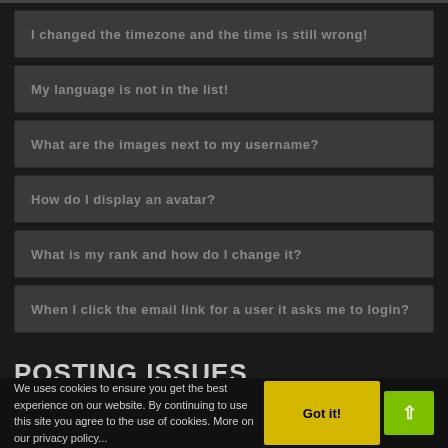I changed the timezone and the time is still wrong!
My language is not in the list!
What are the images next to my username?
How do I display an avatar?
What is my rank and how do I change it?
When I click the email link for a user it asks me to login?
POSTING ISSUES
How do I create a new topic or post a reply?
How do I edit or delete a post?
We uses cookies to ensure you get the best experience on our website. By continuing to use this site you agree to the use of cookies. More on our privacy policy...